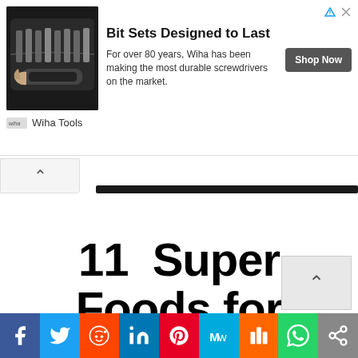[Figure (infographic): Advertisement banner for Wiha Tools featuring screwdriver bit sets. Shows a black case with screwdriver bits, headline 'Bit Sets Designed to Last', body text 'For over 80 years, Wiha has been making the most durable screwdrivers on the market.', a 'Shop Now' button, and the Wiha Tools logo.]
11 Super Foods for Weight Loss
[Figure (photo): Strawberries photo cropped at bottom of page, showing red strawberries with green leaves on white background.]
[Figure (infographic): Social media sharing bar with buttons for Facebook, Twitter, Reddit, LinkedIn, Pinterest, MeWe, Mix, WhatsApp, and a share icon.]